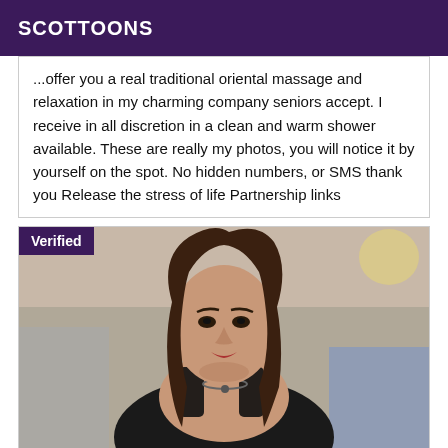SCOTTOONS
...offer you a real traditional oriental massage and relaxation in my charming company seniors accept. I receive in all discretion in a clean and warm shower available. These are really my photos, you will notice it by yourself on the spot. No hidden numbers, or SMS thank you Release the stress of life Partnership links
[Figure (photo): Photo of a person with long dark hair wearing a black top and necklace, with a 'Verified' badge overlay in the top-left corner]